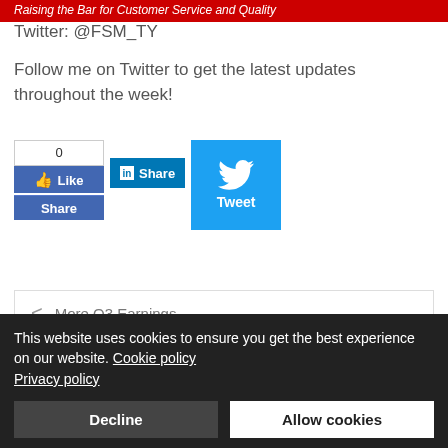Raising the Bar for Customer Service and Quality
Twitter: @FSM_TY
Follow me on Twitter to get the latest updates throughout the week!
[Figure (other): Social sharing buttons: Facebook Like/Share counter showing 0, LinkedIn Share button, and Twitter Tweet button]
< More Q3 Earnings
This website uses cookies to ensure you get the best experience on our website. Cookie policy Privacy policy
Decline  Allow cookies